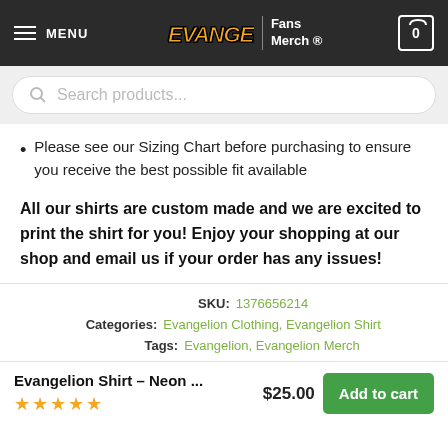MENU | [Logo: Evangelion anime style] | Fans Merch ® | Cart: 0
Search products...
Please see our Sizing Chart before purchasing to ensure you receive the best possible fit available
All our shirts are custom made and we are excited to print the shirt for you! Enjoy your shopping at our shop and email us if your order has any issues!
SKU: 1376656214
Categories: Evangelion Clothing, Evangelion Shirt
Tags: Evangelion, Evangelion Merch
Evangelion Shirt – Neon ... | $25.00 | Add to cart | ★★★★★